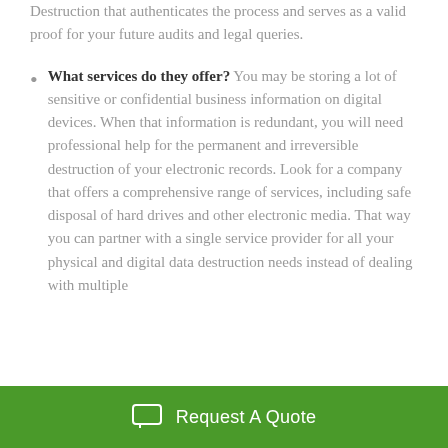Destruction that authenticates the process and serves as a valid proof for your future audits and legal queries.
What services do they offer? You may be storing a lot of sensitive or confidential business information on digital devices. When that information is redundant, you will need professional help for the permanent and irreversible destruction of your electronic records. Look for a company that offers a comprehensive range of services, including safe disposal of hard drives and other electronic media. That way you can partner with a single service provider for all your physical and digital data destruction needs instead of dealing with multiple
Request A Quote